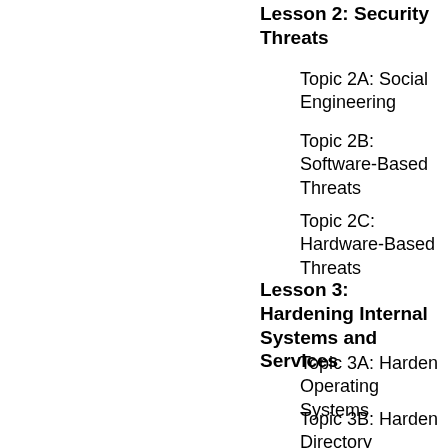Lesson 2: Security Threats
Topic 2A: Social Engineering
Topic 2B: Software-Based Threats
Topic 2C: Hardware-Based Threats
Lesson 3: Hardening Internal Systems and Services
Topic 3A: Harden Operating Systems
Topic 3B: Harden Directory Services
Topic 3C: Harden DHCP Servers
Topic 3D: Harden File and...